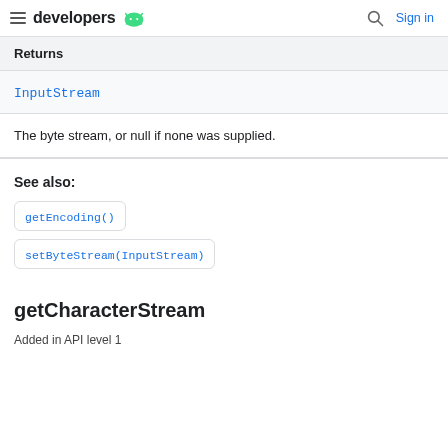developers [android logo]  [search icon]  Sign in
| Returns |
| --- |
| InputStream |
| The byte stream, or null if none was supplied. |
See also:
getEncoding()
setByteStream(InputStream)
getCharacterStream
Added in API level 1